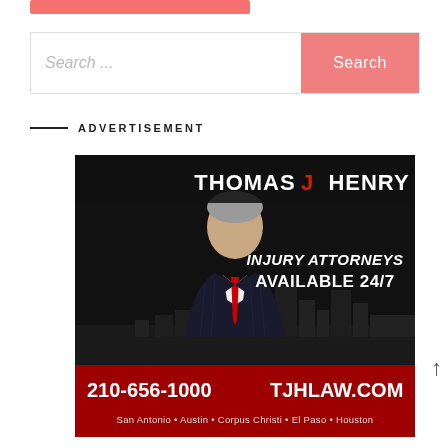[Figure (other): Pink/salmon colored bar at top of page]
Search ...
Search
ADVERTISEMENT
[Figure (photo): Thomas J Henry Injury Attorneys advertisement. Shows a man in a dark pinstripe suit with a red tie against a city skyline background. Text reads: THOMAS J HENRY, INJURY ATTORNEYS AVAILABLE 24/7, 210-656-1000, TJHLAW.COM, San Antonio • Austin • Corpus Christi • El Paso • Houston]